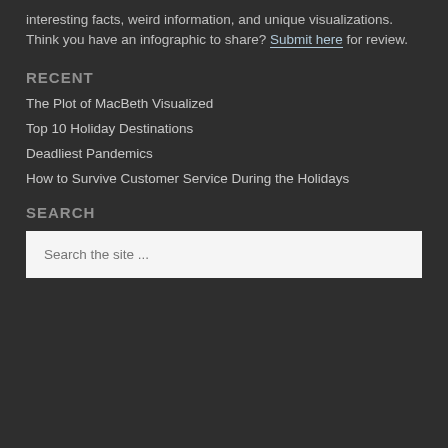interesting facts, weird information, and unique visualizations. Think you have an infographic to share? Submit here for review.
RECENT
The Plot of MacBeth Visualized
Top 10 Holiday Destinations
Deadliest Pandemics
How to Survive Customer Service During the Holidays
SEARCH
Search the site ...